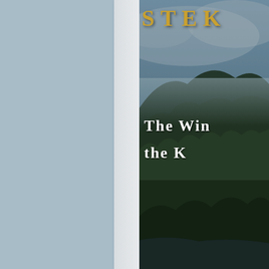[Figure (photo): Book cover showing a dark misty forest/jungle landscape with green foliage and cloudy sky. Partially cropped view showing author name 'STE... K...' in gold serif letters at top, and book title beginning 'The Win...' and 'the K...' in white serif letters in the middle. Left portion shows a blue-gray background panel and a white/light gray spine strip.]